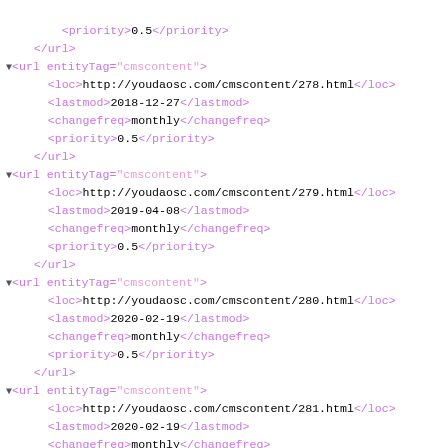<priority>0.5</priority>
</url>
▼<url entityTag="cmscontent">
    <loc>http://youdaosc.com/cmscontent/278.html</loc>
    <lastmod>2018-12-27</lastmod>
    <changefreq>monthly</changefreq>
    <priority>0.5</priority>
</url>
▼<url entityTag="cmscontent">
    <loc>http://youdaosc.com/cmscontent/279.html</loc>
    <lastmod>2019-04-08</lastmod>
    <changefreq>monthly</changefreq>
    <priority>0.5</priority>
</url>
▼<url entityTag="cmscontent">
    <loc>http://youdaosc.com/cmscontent/280.html</loc>
    <lastmod>2020-02-19</lastmod>
    <changefreq>monthly</changefreq>
    <priority>0.5</priority>
</url>
▼<url entityTag="cmscontent">
    <loc>http://youdaosc.com/cmscontent/281.html</loc>
    <lastmod>2020-02-19</lastmod>
    <changefreq>monthly</changefreq>
    <priority>0.5</priority>
</url>
▼<url entityTag="cmscontent">
    <loc>http://youdaosc.com/cmscontent/282.html</loc>
    <lastmod>2019-07-06</lastmod>
    <changefreq>monthly</changefreq>